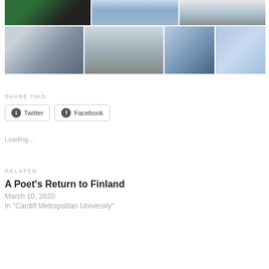[Figure (photo): A collage of travel photos from Finland: people with reindeer, snowy landscapes, a bridge over icy water, winter forest scenes, dog sledding, and a snowy town building.]
SHARE THIS:
Twitter
Facebook
Loading…
RELATED
A Poet's Return to Finland
March 10, 2020
In "Cardiff Metropolitan University"